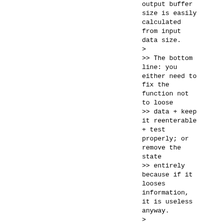output buffer
size is easily
calculated
from input
data size.
>
>> The bottom
line: you
either need to
fix the
function not
to loose
>> data + keep
it reenterable
+ test
properly; or
remove the
state
>> entirely
because if it
looses
information,
it is useless
anyway.
>
> It only
loses
information in
"atypical"
cases when
but diff